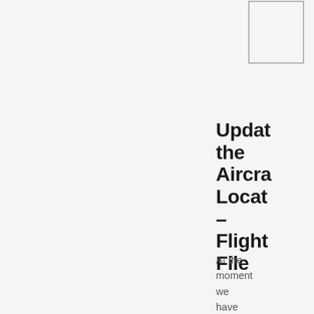[Figure (other): Partial view of a bordered box/table element at the top right corner of the page, cropped]
Update the Aircraft Location – Flight File
At the moment we have an aircraft that will